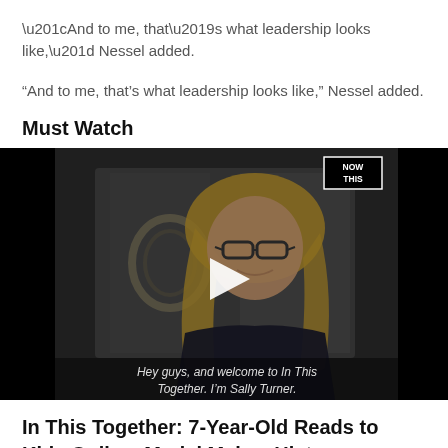“And to me, that’s what leadership looks like,” Nessel added.
Must Watch
[Figure (screenshot): Video thumbnail showing a smiling woman with long blonde hair and glasses, wearing a dark top, with a wreath on the wall behind her. A white play button triangle is visible in the center. A 'NOW THIS' logo appears in the top right corner. Subtitle text reads: Hey guys, and welcome to In This Together. I'm Sally Turner.]
In This Together: 7-Year-Old Reads to Kids Online, Model Makes History